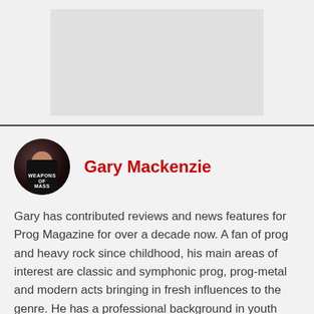[Figure (photo): Gray placeholder image area at top of page]
[Figure (photo): Circular profile photo of Gary Mackenzie wearing a dark t-shirt, dark concert-style background]
Gary Mackenzie
Gary has contributed reviews and news features for Prog Magazine for over a decade now. A fan of prog and heavy rock since childhood, his main areas of interest are classic and symphonic prog, prog-metal and modern acts bringing in fresh influences to the genre. He has a professional background in youth and community work, he